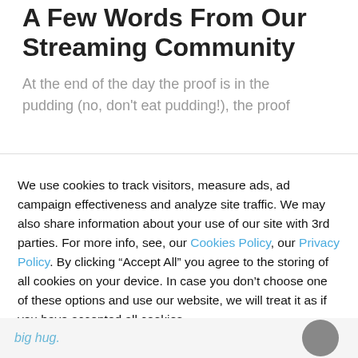A Few Words From Our Streaming Community
At the end of the day the proof is in the pudding (no, don't eat pudding!), the proof
We use cookies to track visitors, measure ads, ad campaign effectiveness and analyze site traffic. We may also share information about your use of our site with 3rd parties. For more info, see, our Cookies Policy, our Privacy Policy. By clicking “Accept All” you agree to the storing of all cookies on your device. In case you don't choose one of these options and use our website, we will treat it as if you have accepted all cookies.
ACCEPT ALL
big hug.